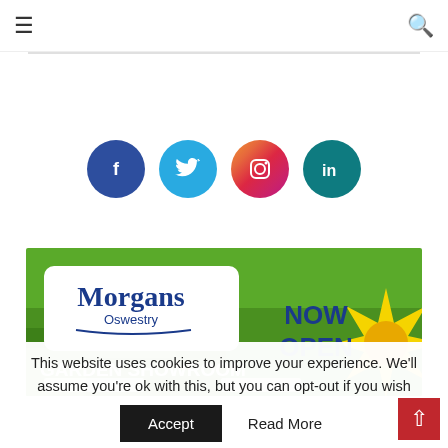≡ [hamburger menu] [search icon]
[Figure (infographic): Social media icon buttons: Facebook (dark blue circle with f), Twitter (light blue circle with bird), Instagram (gradient circle with camera icon), LinkedIn (teal circle with in)]
[Figure (screenshot): Morgans Oswestry Garden Showroom banner advertisement with NOW OPEN text, green grass background and yellow sunflower graphic]
This website uses cookies to improve your experience. We'll assume you're ok with this, but you can opt-out if you wish
Accept   Read More